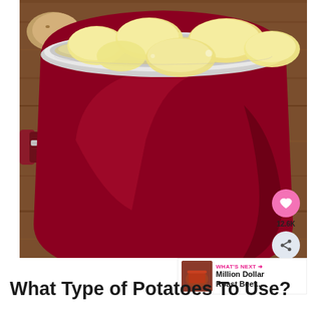[Figure (photo): A large red pot filled with peeled potato chunks submerged in water, sitting on a wooden surface. A whole unpeeled potato is visible in the upper left background.]
What Type of Potatoes To Use?